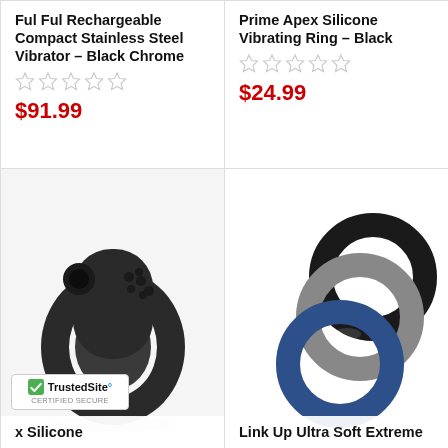Ful Ful Rechargeable Compact Stainless Steel Vibrator – Black Chrome
$91.99
Prime Apex Silicone Vibrating Ring – Black
$24.99
[Figure (photo): Black silicone vibrating ring with button control and textured design, shown on white background]
...x Silicone
[Figure (photo): Three silicone rings in black, grey, and blue colors, stacked and overlapping on white background]
Link Up Ultra Soft Extreme